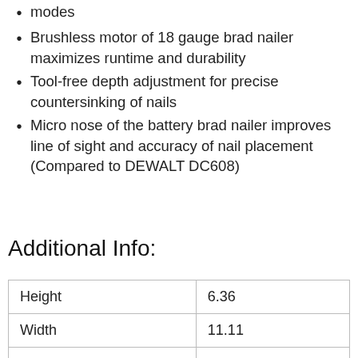modes
Brushless motor of 18 gauge brad nailer maximizes runtime and durability
Tool-free depth adjustment for precise countersinking of nails
Micro nose of the battery brad nailer improves line of sight and accuracy of nail placement (Compared to DEWALT DC608)
Additional Info:
| Height | 6.36 |
| Width | 11.11 |
| Length | 18.72 |
| Weight | 5 |